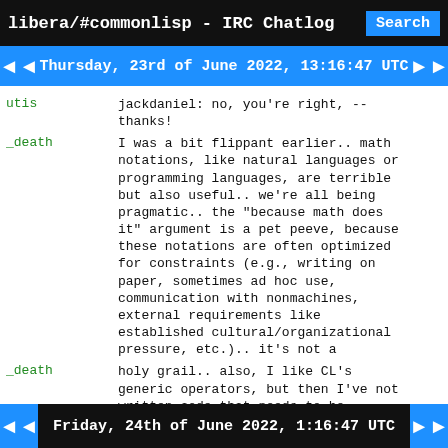libera/#commonlisp - IRC Chatlog  Search
Thursday, 23rd of June 2022, 13:16:47 UTC
utis	jackdaniel: no, you're right, --
thanks!
_death	I was a bit flippant earlier.. math notations, like natural languages or programming languages, are terrible but also useful.. we're all being pragmatic.. the "because math does it" argument is a pet peeve, because these notations are often optimized for constraints (e.g., writing on paper, sometimes ad hoc use, communication with nonmachines, external requirements like established cultural/organizational pressure, etc.).. it's not a
_death	holy grail.. also, I like CL's generic operators, but then I've not written code that needs to be especially numerically accurate
Friday, 24th of June 2022, 1:16:47 UTC